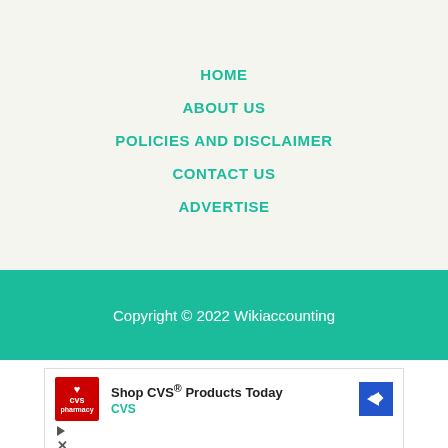HOME
ABOUT US
POLICIES AND DISCLAIMER
CONTACT US
ADVERTISE
Copyright © 2022 Wikiaccounting
[Figure (other): CVS Pharmacy advertisement: Shop CVS® Products Today, with CVS logo, navigation arrow icon, play and close buttons]